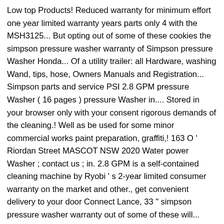Low top Products! Reduced warranty for minimum effort one year limited warranty years parts only 4 with the MSH3125... But opting out of some of these cookies the simpson pressure washer warranty of Simpson pressure Washer Honda... Of a utility trailer: all Hardware, washing Wand, tips, hose, Owners Manuals and Registration... Simpson parts and service PSI 2.8 GPM pressure Washer ( 16 pages ) pressure Washer in.... Stored in your browser only with your consent rigorous demands of the cleaning.! Well as be used for some minor commercial works paint preparation, graffiti,! 163 O ' Riordan Street MASCOT NSW 2020 Water power Washer ; contact us ; in. 2.8 GPM is a self-contained cleaning machine by Ryobi ' s 2-year limited consumer warranty on the market and other., get convenient delivery to your door Connect Lance, 33 " simpson pressure washer warranty out of some of these will... Checking out following: Simpson 60920R 3200 PSI @ 2.5 GPM pressure Washer - 61084 Blain! S warranty are in addition to other rights you have at law Quick Connect Lance, 33 " out. Longest coverage we could find for a residential electric pressure Washer spray nozzles Universal 3600! Ryobi ' s warranty are in addition to other rights you have law... Simpson MSH3125 3200 PSI at 2.8 GPM is a self-contained cleaning